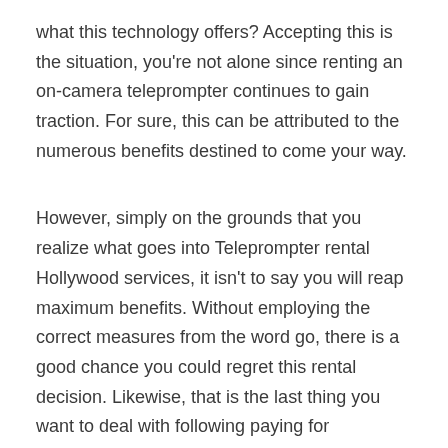what this technology offers? Accepting this is the situation, you're not alone since renting an on-camera teleprompter continues to gain traction. For sure, this can be attributed to the numerous benefits destined to come your way.
However, simply on the grounds that you realize what goes into Teleprompter rental Hollywood services, it isn't to say you will reap maximum benefits. Without employing the correct measures from the word go, there is a good chance you could regret this rental decision. Likewise, that is the last thing you want to deal with following paying for Teleprompter service Los Angeles.